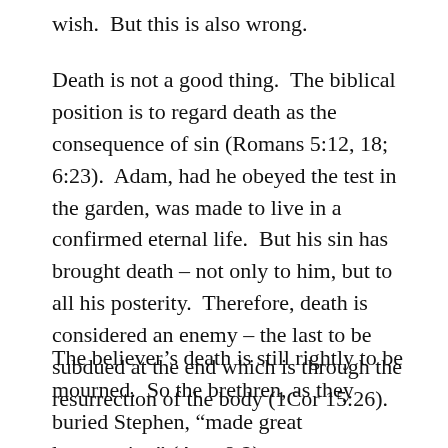wish.  But this is also wrong.
Death is not a good thing.  The biblical position is to regard death as the consequence of sin (Romans 5:12, 18; 6:23).  Adam, had he obeyed the test in the garden, was made to live in a confirmed eternal life.  But his sin has brought death – not only to him, but to all his posterity.  Therefore, death is considered an enemy – the last to be subdued at the end which is through the resurrection of the body (1Cor 15:26).
The believer’s death is still rightly to be mourned.  So the brethren, as they buried Stephen, “made great lamentation” (Acts 8:2).